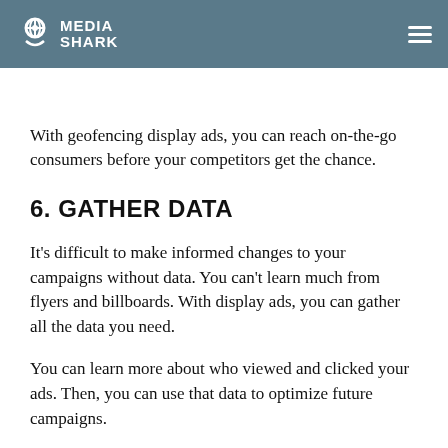MEDIA SHARK
traveling toward your store.
With geofencing display ads, you can reach on-the-go consumers before your competitors get the chance.
6. GATHER DATA
It's difficult to make informed changes to your campaigns without data. You can't learn much from flyers and billboards. With display ads, you can gather all the data you need.
You can learn more about who viewed and clicked your ads. Then, you can use that data to optimize future campaigns.
7. CONTROL YOUR SPENDING
Tracking your campaigns will also allow you to